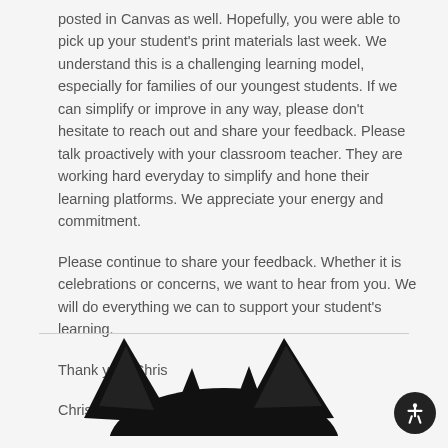posted in Canvas as well. Hopefully, you were able to pick up your student's print materials last week. We understand this is a challenging learning model, especially for families of our youngest students. If we can simplify or improve in any way, please don't hesitate to reach out and share your feedback. Please talk proactively with your classroom teacher. They are working hard everyday to simplify and hone their learning platforms. We appreciate your energy and commitment.
Please continue to share your feedback. Whether it is celebrations or concerns, we want to hear from you. We will do everything we can to support your student's learning.
Thank you, Chris
Chris Opitz, principal
[Figure (photo): Partial image of a black cat silhouette visible from the ears/top of head, cropped at bottom of page, with a horizontal divider line above it.]